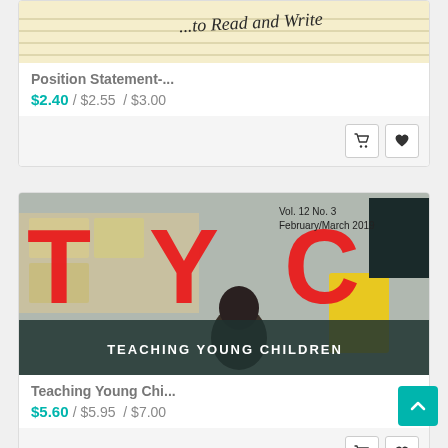[Figure (photo): Partial view of a handwritten notebook page with text 'Read and Write' visible on lined yellow paper]
Position Statement-...
$2.40 / $2.55 / $3.00
[Figure (photo): TYC Teaching Young Children magazine cover, Vol. 12 No. 3, February/March 2019, showing bold red TYC letters over a photo of children in a classroom]
Teaching Young Chi...
$5.60 / $5.95 / $7.00